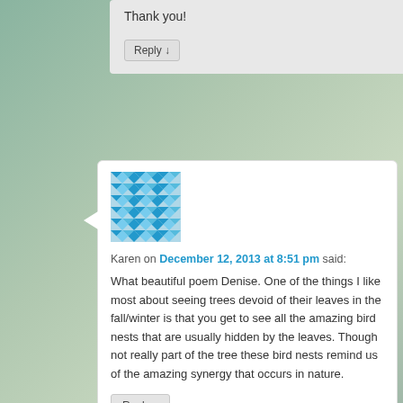Thank you!
Reply ↓
[Figure (illustration): Teal/blue geometric mosaic pattern avatar for user Karen]
Karen on December 12, 2013 at 8:51 pm said:
What beautiful poem Denise. One of the things I like most about seeing trees devoid of their leaves in the fall/winter is that you get to see all the amazing bird nests that are usually hidden by the leaves. Though not really part of the tree these bird nests remind us of the amazing synergy that occurs in nature.
Reply ↓